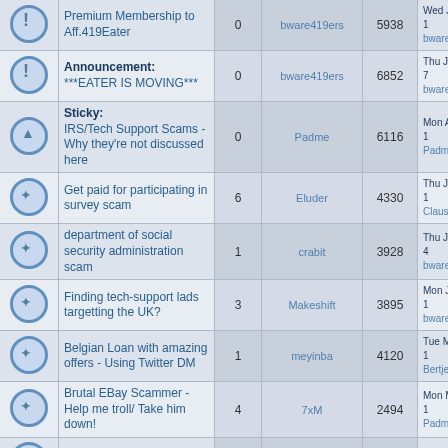|  | Topic | Replies | Author | Views | Last Post |
| --- | --- | --- | --- | --- | --- |
| [!] | Premium Membership to Aff.419Eater | 0 | bware419ers | 5938 | Wed Jun 01, 2020 bware419ers |
| [!] | Announcement: ***EATER IS MOVING*** | 0 | bware419ers | 6852 | Thu Jun 18, 2020 bware419ers |
| [▲] | Sticky: IRS/Tech Support Scams -Why they're not discussed here | 0 | Padme | 6116 | Mon Aug 06, 2018 Padme |
| [✦] | Get paid for participating in survey scam | 6 | Eluder | 4330 | Thu Jun 11, 2020 Claus Shaeve |
| [✦] | department of social security administration scam | 1 | crabit | 3928 | Thu Jun 04, 2020 bware419ers |
| [✦] | Finding tech-support lads targetting the UK? | 3 | Makeshift | 3895 | Mon Jun 01, 2020 bware419ers |
| [✦] | Belgian Loan with amazing offers - Using Twitter DM | 1 | meyinba | 4120 | Tue May 12, 2020 Bertje |
| [✦] | Brutal EBay Scammer - Help me troll/ Take him down! | 4 | 7xM | 2494 | Mon May 11, 2020 Padme |
| [✦] | Expose on GoodReads' most | 2 | Jacob-Acerbi-Scammer | 1915 | Wed May 06, 2020 bware419ers |